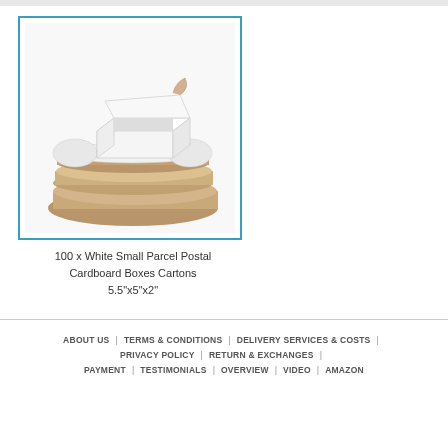[Figure (photo): White small parcel postal cardboard boxes cartons, showing one box open and others flat/folded, stacked together.]
100 x White Small Parcel Postal Cardboard Boxes Cartons
5.5"x5"x2"
ABOUT US | TERMS & CONDITIONS | DELIVERY SERVICES & COSTS | PRIVACY POLICY | RETURN & EXCHANGES | PAYMENT | TESTIMONIALS | OVERVIEW | VIDEO | AMAZON